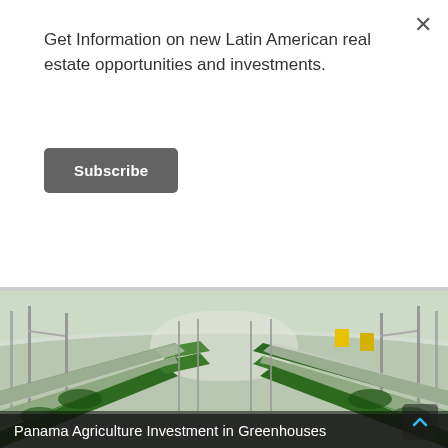Get Information on new Latin American real estate opportunities and investments.
Subscribe
[Figure (photo): Interior of a large greenhouse with rows of green plants (strawberries) growing on raised beds, metal frame structure with translucent roof panels, yellow tags visible on right side.]
Panama Agriculture Investment in Greenhouses